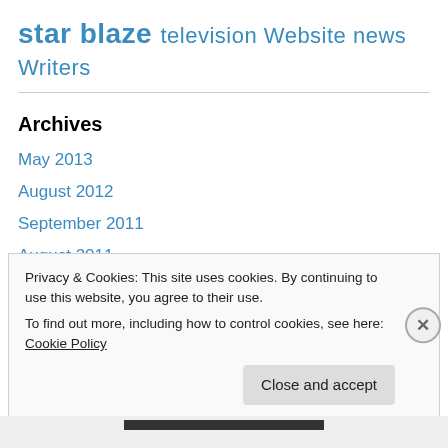star blaze television Website news Writers
Archives
May 2013
August 2012
September 2011
August 2011
April 2011
January 2011
September 2010
Privacy & Cookies: This site uses cookies. By continuing to use this website, you agree to their use.
To find out more, including how to control cookies, see here: Cookie Policy
Close and accept